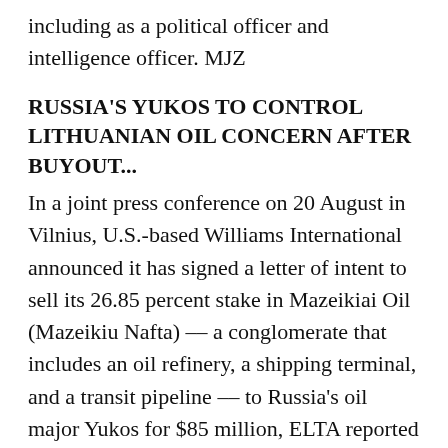including as a political officer and intelligence officer. MJZ
RUSSIA'S YUKOS TO CONTROL LITHUANIAN OIL CONCERN AFTER BUYOUT...
In a joint press conference on 20 August in Vilnius, U.S.-based Williams International announced it has signed a letter of intent to sell its 26.85 percent stake in Mazeikiai Oil (Mazeikiu Nafta) -- a conglomerate that includes an oil refinery, a shipping terminal, and a transit pipeline -- to Russia's oil major Yukos for $85 million, ELTA reported on 20 August. Yukos First Vice President Mikhail Brudno said his company hopes to acquire Williams International's operating rights for Mazeikiai Oil as well. Yukos purchased its original 26.85 percent stake in Mazeikiai Oil in June 2002, and this latest deal will give it controlling interest,